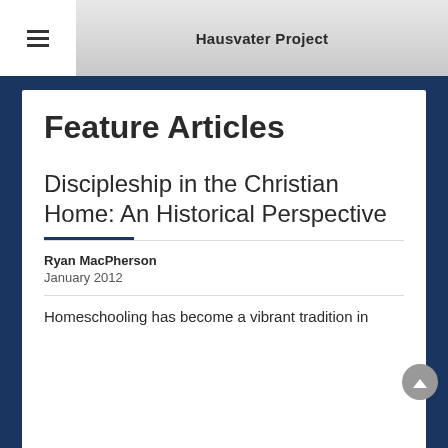Hausvater Project
Feature Articles
Discipleship in the Christian Home: An Historical Perspective
Ryan MacPherson
January 2012
Homeschooling has become a vibrant tradition in